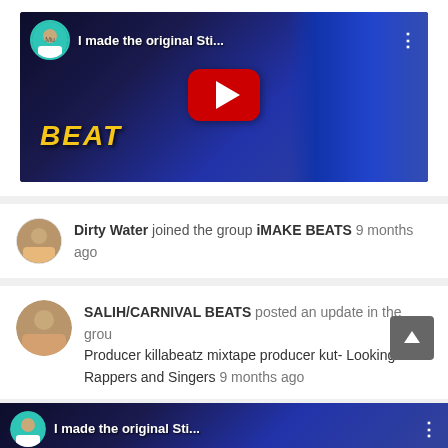[Figure (screenshot): YouTube video thumbnail showing 'I made the original Sti...' with a red play button, channel avatar, beat text overlay, and three-dot menu icon]
Dirty Water joined the group iMAKE BEATS 9 months ago
SALIH/CARNIVAL BEATS posted an update in the group Producer killabeatz mixtape producer kut- Looking For Rappers and Singers 9 months ago
[Figure (screenshot): Partial YouTube video thumbnail showing 'I made the original Sti...' with channel avatar — cut off at bottom of page]